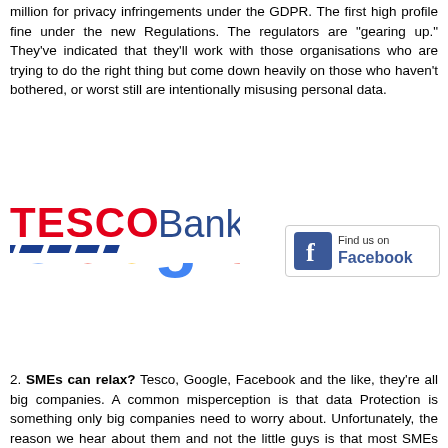million for privacy infringements under the GDPR. The first high profile fine under the new Regulations. The regulators are "gearing up." They've indicated that they'll work with those organisations who are trying to do the right thing but come down heavily on those who haven't bothered, or worst still are intentionally misusing personal data.
[Figure (logo): Tesco Bank logo with red TESCO text, blue diagonal dashes, and black Bank text]
[Figure (logo): Find us on Facebook button with blue Facebook icon]
[Figure (logo): Google logo in multicolor letters]
2. SMEs can relax? Tesco, Google, Facebook and the like, they're all big companies. A common misperception is that data Protection is something only big companies need to worry about. Unfortunately, the reason we hear about them and not the little guys is that most SMEs aren't newsworthy. But, if you're an SME (employing 250 staff or less) are you aware that 58% of cyber attacks are on SMEs? Why,